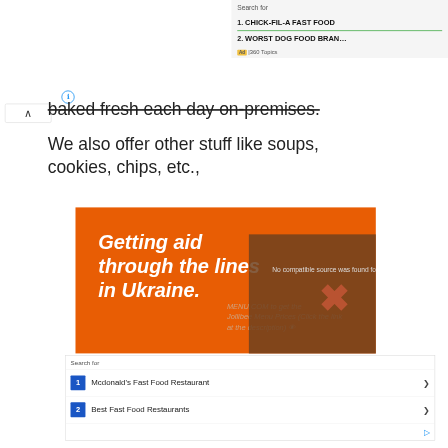Search for
1.  CHICK-FIL-A FAST FOOD
2.  WORST DOG FOOD BRAN…
Ad | 360 Topics
baked fresh each day on-premises.
We also offer other stuff like soups, cookies, chips, etc.,
[Figure (screenshot): Orange banner advertisement: 'Getting aid through the lines in Ukraine.' overlaid by a video player error message 'No compatible source was found for this media.' with an X close button]
Search for
1  Mcdonald's Fast Food Restaurant
2  Best Fast Food Restaurants